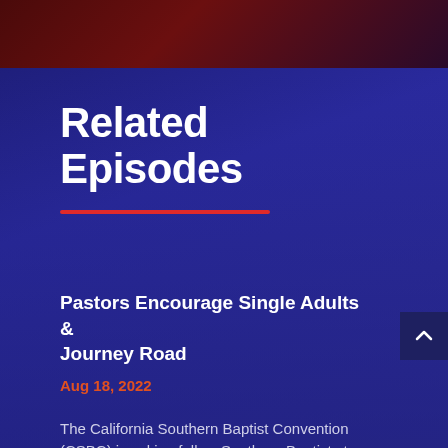Related Episodes
Pastors Encourage Single Adults & Journey Road
Aug 18, 2022
The California Southern Baptist Convention (CSBC) is asking fellow Southern Baptists to join